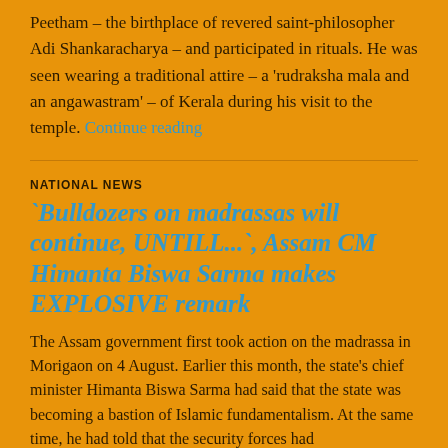Peetham – the birthplace of revered saint-philosopher Adi Shankaracharya – and participated in rituals. He was seen wearing a traditional attire – a 'rudraksha mala and an angawastram' – of Kerala during his visit to the temple. Continue reading
NATIONAL NEWS
'Bulldozers on madrassas will continue, UNTILL...', Assam CM Himanta Biswa Sarma makes EXPLOSIVE remark
The Assam government first took action on the madrassa in Morigaon on 4 August. Earlier this month, the state's chief minister Himanta Biswa Sarma had said that the state was becoming a bastion of Islamic fundamentalism. At the same time, he had told that the security forces had